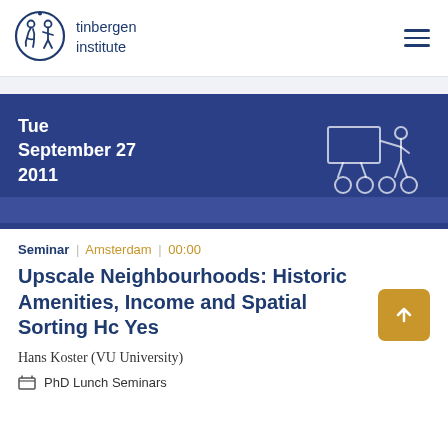tinbergen institute
[Figure (illustration): Tinbergen Institute logo - circular emblem with stylized figures]
Tue September 27 2011
[Figure (illustration): Line drawing of a person presenting at a whiteboard/projector]
Seminar | Amsterdam | 00:00
Upscale Neighbourhoods: Historic Amenities, Income and Spatial Sorting Hc Yes
Hans Koster (VU University)
PhD Lunch Seminars